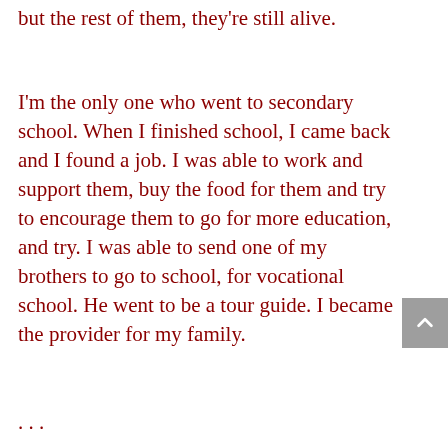but the rest of them, they're still alive.
I'm the only one who went to secondary school. When I finished school, I came back and I found a job. I was able to work and support them, buy the food for them and try to encourage them to go for more education, and try. I was able to send one of my brothers to go to school, for vocational school. He went to be a tour guide. I became the provider for my family.
. . .